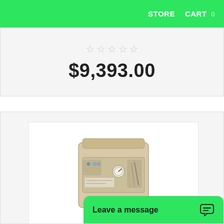STORE    CART 0
☆☆☆☆☆
$9,393.00
[Figure (photo): Dental or medical equipment unit — a beige/cream colored box device with control panel, gauges, tubes, and instruments visible on the front face, shown from a slight angle.]
Leave a message